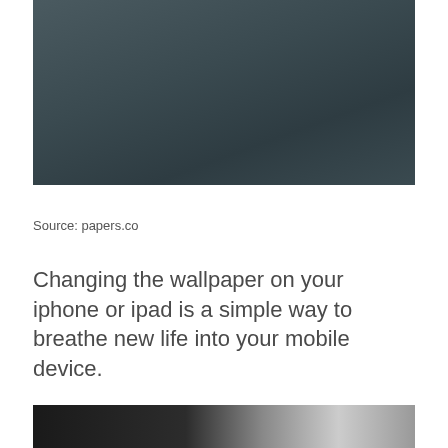[Figure (photo): Dark gray/slate colored background wallpaper image, top portion of page]
Source: papers.co
Changing the wallpaper on your iphone or ipad is a simple way to breathe new life into your mobile device.
[Figure (photo): Black and white photo showing curved lines, partially visible at bottom of page]